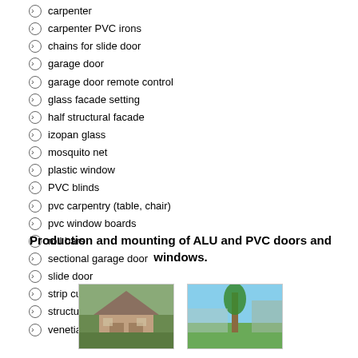carpenter
carpenter PVC irons
chains for slide door
garage door
garage door remote control
glass facade setting
half structural facade
izopan glass
mosquito net
plastic window
PVC blinds
pvc carpentry (table, chair)
pvc window boards
roll bars
sectional garage door
slide door
strip curtain
structural facade
venetian shutter
Production and mounting of ALU and PVC doors and windows.
[Figure (photo): Photo of a house with PVC windows and doors installation]
[Figure (photo): Photo of an outdoor area with ALU/PVC installation work]